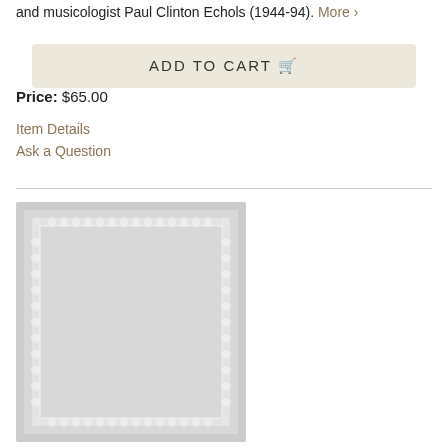and musicologist Paul Clinton Echols (1944-94). More ›
ADD TO CART 🛒
Price: $65.00
Item Details
Ask a Question
[Figure (illustration): A decorative framed certificate or sheet music page with ornamental border pattern on gray background]